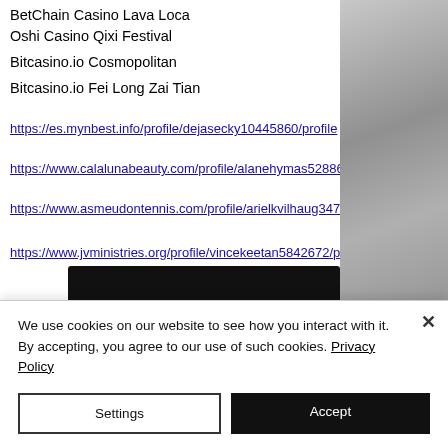BetChain Casino Lava Loca
Oshi Casino Qixi Festival
Bitcasino.io Cosmopolitan
Bitcasino.io Fei Long Zai Tian
https://es.mynbest.info/profile/dejasecky10445860/profile
https://www.calalunabeauty.com/profile/alanehymas5288604/profile
https://www.asmeudontennis.com/profile/arielkvilhaug3478559/profile
https://www.jvministries.org/profile/vincekeetan5842672/profile
We use cookies on our website to see how you interact with it. By accepting, you agree to our use of such cookies. Privacy Policy
Settings
Accept